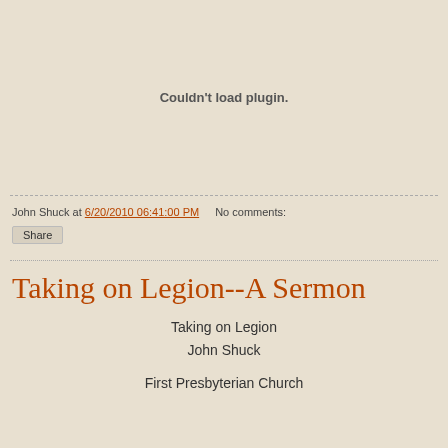Couldn't load plugin.
John Shuck at 6/20/2010 06:41:00 PM   No comments:
Share
Taking on Legion--A Sermon
Taking on Legion
John Shuck
First Presbyterian Church